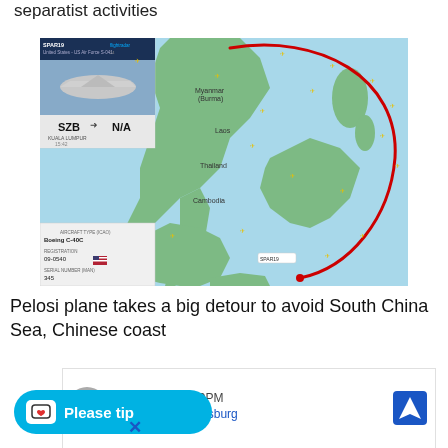separatist activities
[Figure (screenshot): Flight tracking screenshot showing a US Air Force C-40C plane (SPAR19) route on a map of Southeast Asia, with a red curved path avoiding the South China Sea and Chinese coast. Flight info shows SZB to N/A, Boeing C-40C, departure time 15:42.]
Pelosi plane takes a big detour to avoid South China Sea, Chinese coast
[Figure (screenshot): Advertisement showing 'OPEN 10AM-9PM' and 'Evans Rd NE, Leesburg' with a navigation icon, partially obscured by a 'Please tip' button in cyan and an X close button.]